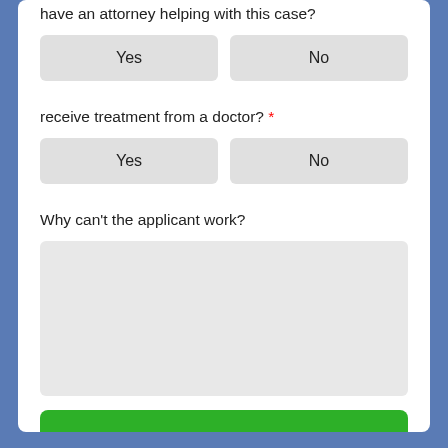have an attorney helping with this case?
Yes
No
receive treatment from a doctor? *
Yes
No
Why can't the applicant work?
GO TO LAST STEP